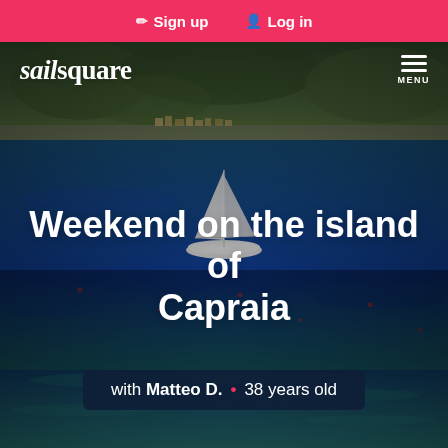✏ Sign up   👤 Log in
[Figure (photo): Aerial/drone view of a sailboat anchored in deep blue Mediterranean waters near the island of Capraia, with a rocky cliffside covered in green vegetation and a small coastal village in the background. The water transitions from deep blue in the middle to turquoise near the bottom of the frame.]
sailsquare
Weekend on the island of Capraia
with Matteo D. • 38 years old